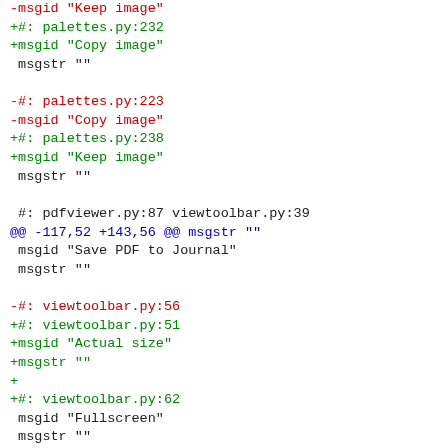-msgid "Keep image"
+#: palettes.py:232
+msgid "Copy image"
 msgstr ""

-#: palettes.py:223
-msgid "Copy image"
+#: palettes.py:238
+msgid "Keep image"
 msgstr ""

 #: pdfviewer.py:87 viewtoolbar.py:39
@@ -117,52 +143,56 @@ msgstr ""
 msgid "Save PDF to Journal"
 msgstr ""

-#: viewtoolbar.py:56
+#: viewtoolbar.py:51
+msgid "Actual size"
+msgstr ""
+
+#: viewtoolbar.py:62
 msgid "Fullscreen"
 msgstr ""

-#: viewtoolbar.py:113
+#: viewtoolbar.py:112
 msgid "Show Tray"
 msgstr ""

-#: viewtoolbar.py:117